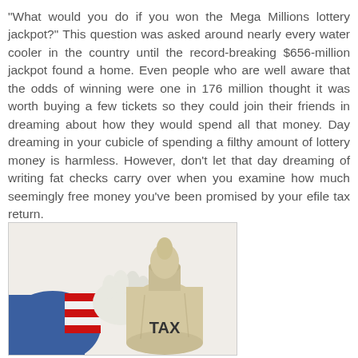"What would you do if you won the Mega Millions lottery jackpot?" This question was asked around nearly every water cooler in the country until the record-breaking $656-million jackpot found a home. Even people who are well aware that the odds of winning were one in 176 million thought it was worth buying a few tickets so they could join their friends in dreaming about how they would spend all that money. Day dreaming in your cubicle of spending a filthy amount of lottery money is harmless. However, don't let that day dreaming of writing fat checks carry over when you examine how much seemingly free money you've been promised by your efile tax return.
[Figure (photo): A hand wearing a white glove and Uncle Sam patriotic red and white striped sleeve holds a canvas money bag labeled 'TAX']